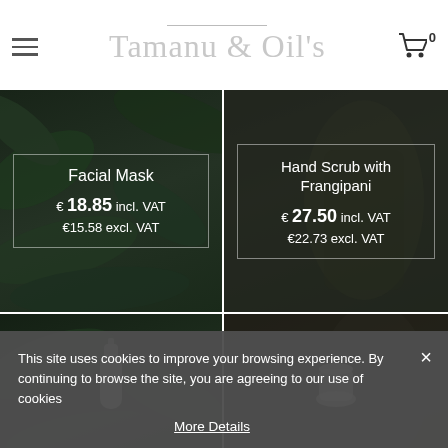Tamanu & Oil's — Navigation header with hamburger menu and cart icon (0 items)
[Figure (photo): Product card: Facial Mask on dark green foliage background, showing price €18.85 incl. VAT / €15.58 excl. VAT]
[Figure (photo): Product card: Hand Scrub with Frangipani on dark background with person, showing price €27.50 incl. VAT / €22.73 excl. VAT]
[Figure (photo): Bottom left product card with white bottle/container on dark foliage background]
[Figure (photo): Bottom right product card with white container on dark background]
This site uses cookies to improve your browsing experience. By continuing to browse the site, you are agreeing to our use of cookies
More Details